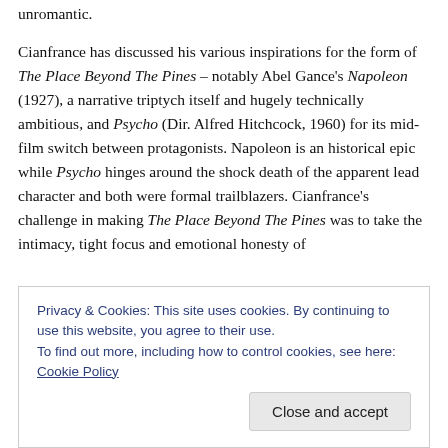unromantic. Cianfrance has discussed his various inspirations for the form of The Place Beyond The Pines – notably Abel Gance's Napoleon (1927), a narrative triptych itself and hugely technically ambitious, and Psycho (Dir. Alfred Hitchcock, 1960) for its mid-film switch between protagonists. Napoleon is an historical epic while Psycho hinges around the shock death of the apparent lead character and both were formal trailblazers. Cianfrance's challenge in making The Place Beyond The Pines was to take the intimacy, tight focus and emotional honesty of
Privacy & Cookies: This site uses cookies. By continuing to use this website, you agree to their use. To find out more, including how to control cookies, see here: Cookie Policy